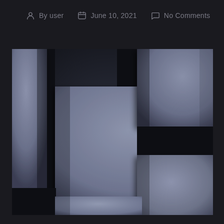By user   June 10, 2021   No Comments
[Figure (illustration): Abstract 3D geometric composition of overlapping rectangular panels in muted blue-grey tones against a dark near-black background, creating a layered shadow effect with multiple stacked rectangular shapes of varying sizes]